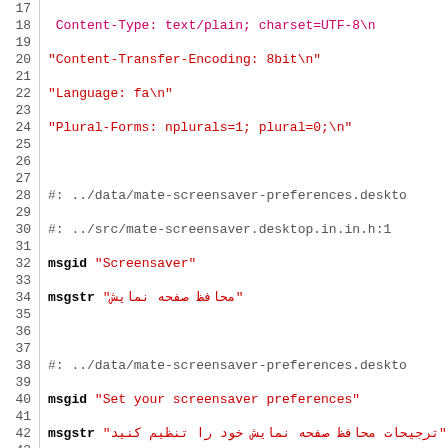Source code listing (gettext .po file, lines 17–46) with Persian translations for mate-screensaver preferences.